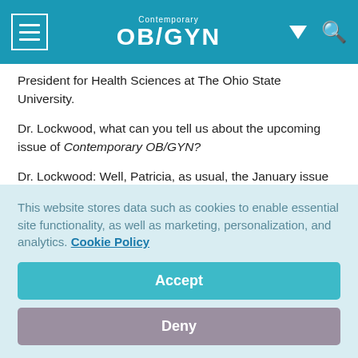Contemporary OB/GYN
President for Health Sciences at The Ohio State University.
Dr. Lockwood, what can you tell us about the upcoming issue of Contemporary OB/GYN?
Dr. Lockwood: Well, Patricia, as usual, the January issue of Contemporary OB/GYN is packed from cover to cover with information you can use in day-to-day practice. Here are highlights of our must-read articles and departments:
This website stores data such as cookies to enable essential site functionality, as well as marketing, personalization, and analytics. Cookie Policy
Accept
Deny